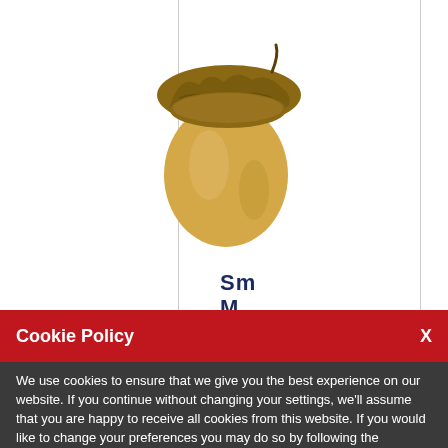[Figure (photo): An acorn photographed on a white background, with a beige/tan body and brown textured cap, centered in the upper portion of the page]
Sm
M
I
T
Cookie Policy   X
We use cookies to ensure that we give you the best experience on our website. If you continue without changing your settings, we'll assume that you are happy to receive all cookies from this website. If you would like to change your preferences you may do so by following the instructions here.